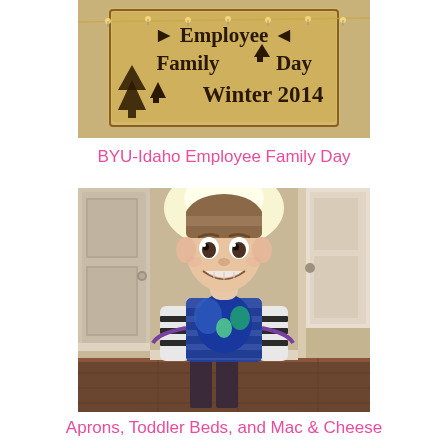[Figure (photo): Close-up photo of a burlap/cardboard sign reading 'Employee Family Day Winter 2014' with tree decorations and twinkle lights in the background]
BYU-Idaho Employee Family Day
[Figure (photo): Photo of a young toddler/child smiling at camera, wearing a striped long-sleeve shirt and a colorful character apron, standing in a hallway with white doors and wood floors]
Aprons, Toddler Beds, and Mac & Cheese